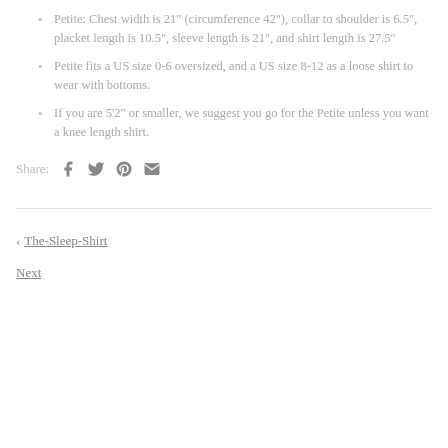Petite: Chest width is 21" (circumference 42"), collar to shoulder is 6.5", placket length is 10.5", sleeve length is 21", and shirt length is 27.5"
Petite fits a US size 0-6 oversized, and a US size 8-12 as a loose shirt to wear with bottoms.
If you are 5'2" or smaller, we suggest you go for the Petite unless you want a knee length shirt.
Share:
‹ The-Sleep-Shirt
Next